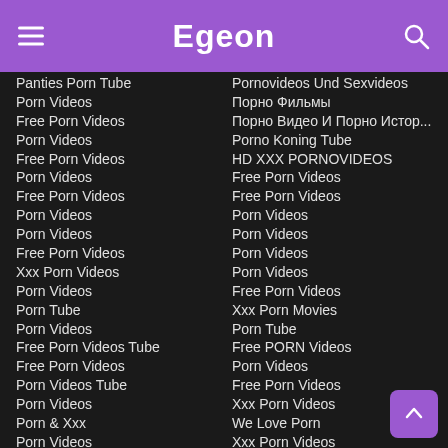Egeon
Panties Porn Tube
Porn Videos
Free Porn Videos
Porn Videos
Free Porn Videos
Porn Videos
Free Porn Videos
Porn Videos
Porn Videos
Free Porn Videos
Xxx Porn Videos
Porn Videos
Porn Tube
Porn Videos
Free Porn Videos Tube
Free Porn Videos
Porn Videos Tube
Porn Videos
Porn & Xxx
Porn Videos
Pornovideos Und Sexvideos
Порно Фильмы
Порно Видео И Порно Истор...
Porno Koning Tube
HD XXX PORNOVIDEOS
Free Porn Videos
Free Porn Videos
Porn Videos
Porn Videos
Porn Videos
Porn Videos
Free Porn Videos
Xxx Porn Movies
Porn Tube
Free PORN Videos
Porn Videos
Free Porn Videos
Xxx Porn Videos
We Love Porn
Xxx Porn Videos